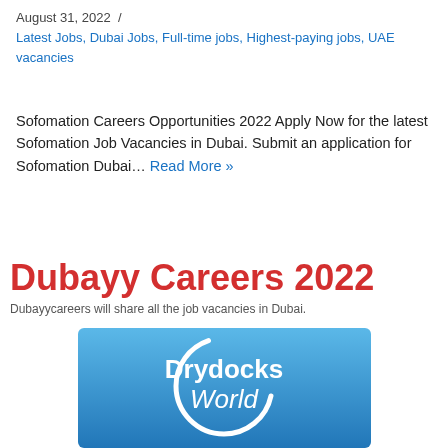August 31, 2022  /
Latest Jobs, Dubai Jobs, Full-time jobs, Highest-paying jobs, UAE vacancies
Sofomation Careers Opportunities 2022 Apply Now for the latest Sofomation Job Vacancies in Dubai. Submit an application for Sofomation Dubai… Read More »
Dubayy Careers 2022
Dubayycareers will share all the job vacancies in Dubai.
[Figure (logo): Drydocks World logo — blue gradient square with white circular arc and white text reading 'Drydocks World']